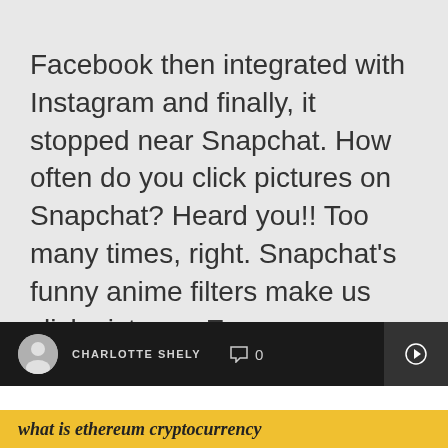Facebook then integrated with Instagram and finally, it stopped near Snapchat. How often do you click pictures on Snapchat? Heard you!! Too many times, right. Snapchat's funny anime filters make us click pictures. Every
CHARLOTTE SHELY  0
what is ethereum cryptocurrency